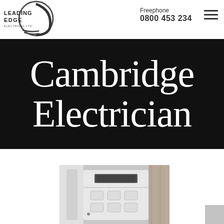[Figure (logo): Leading Edge Electrical Ltd logo with circular swoosh graphic]
Freephone
0800 453 234
Cambridge Electrician
[Figure (photo): Grayscale close-up photo of an electrical control panel or thermostat with buttons and a small display screen]